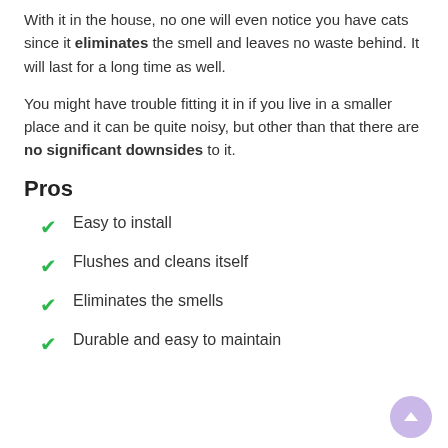With it in the house, no one will even notice you have cats since it eliminates the smell and leaves no waste behind. It will last for a long time as well.
You might have trouble fitting it in if you live in a smaller place and it can be quite noisy, but other than that there are no significant downsides to it.
Pros
Easy to install
Flushes and cleans itself
Eliminates the smells
Durable and easy to maintain